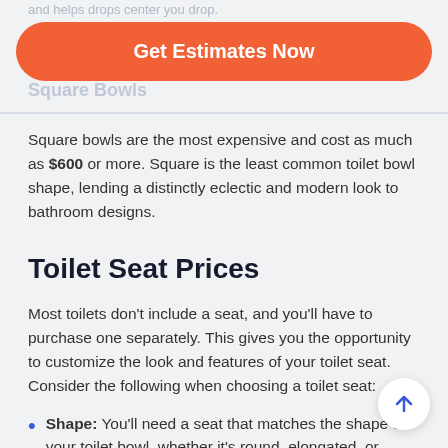and helps drops center you drop.
[Figure (other): Orange rounded button labeled 'Get Estimates Now']
Square Bowls
Square bowls are the most expensive and cost as much as $600 or more. Square is the least common toilet bowl shape, lending a distinctly eclectic and modern look to bathroom designs.
Toilet Seat Prices
Most toilets don't include a seat, and you'll have to purchase one separately. This gives you the opportunity to customize the look and features of your toilet seat. Consider the following when choosing a toilet seat:
Shape: You'll need a seat that matches the shape of your toilet bowl, whether it's round, elongated, or square.
Materials: You'll find toilet seats made from real wood or molded wood composition, cushioned vinyl, plastic, or